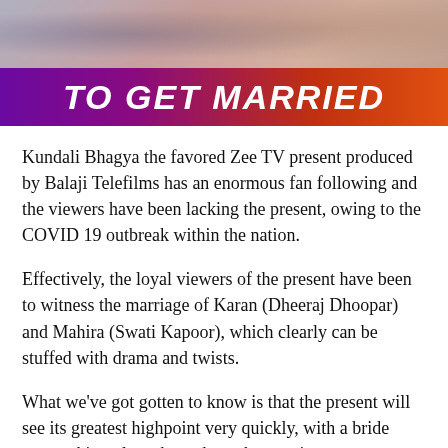[Figure (photo): Blurred photo of people at top of page, serving as background strip]
TO GET MARRIED
Kundali Bhagya the favored Zee TV present produced by Balaji Telefilms has an enormous fan following and the viewers have been lacking the present, owing to the COVID 19 outbreak within the nation.
Effectively, the loyal viewers of the present have been to witness the marriage of Karan (Dheeraj Dhoopar) and Mahira (Swati Kapoor), which clearly can be stuffed with drama and twists.
What we've got gotten to know is that the present will see its greatest highpoint very quickly, with a bride swap taking place throughout the marriage ceremony.
Sure, Preeta will costume up because the bride and can